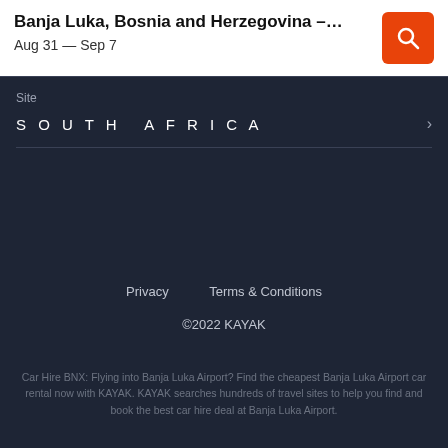Banja Luka, Bosnia and Herzegovina – Banja L… | Aug 31 – Sep 7
Site
SOUTH AFRICA
Privacy   Terms & Conditions
©2022 KAYAK
Car Hire BNX: Flying into Banja Luka Airport? Find the cheapest Banja Luka Airport car rental now with KAYAK. KAYAK searches hundreds of travel sites to help you find and book the best car hire deal at Banja Luka Airport.